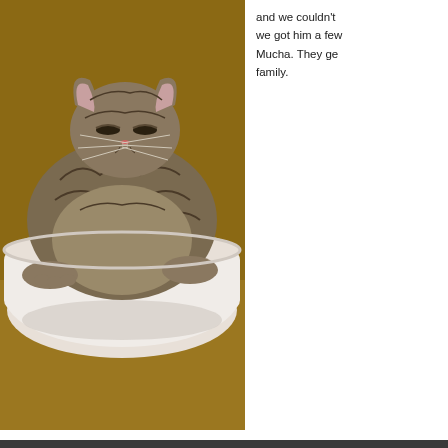[Figure (photo): Fluffy long-haired tabby cat sitting inside a large white bowl on a wooden surface, eyes half-closed]
and we couldn't we got him a few Mucha. They ge family.
Best Chocolate Cake - Ever
[Figure (photo): Chocolate bundt cake on a green plate, showing rich dark chocolate texture with bumpy top]
I got a new bund violets on it - so picture as 1/2 th soon as it was c Aidan, and Kaeli
I got this recipe t recipe sites I hav